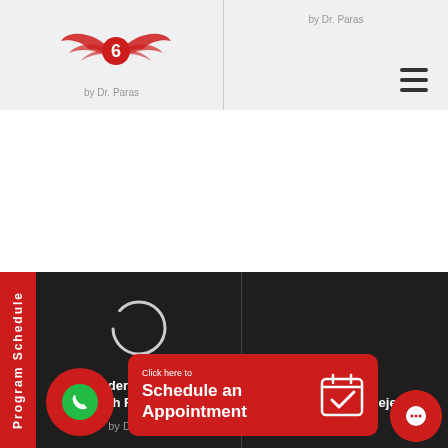by Dr. Paras | by Dr. Paras
[Figure (logo): Matrrix logo with red winged emblem and italic red text 'matrrix']
Program Schedule
ys to understand and deal with Rejection
by Dr. Paras
Recovering from Rejection
by Dr. Paras
Click here to Schedule an Appointment